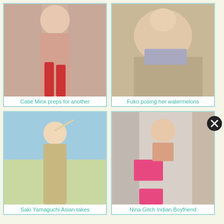[Figure (photo): Woman in red bikini posing indoors]
Catie Minx preps for another
[Figure (photo): Woman in silver bikini posing on floor with denim jacket]
Fuko posing her watermelons
[Figure (photo): Asian woman in yellow outfit posing at beach]
Saki Yamaguchi Asian takes
[Figure (photo): Woman in pink bikini wearing sunglasses posing indoors]
Nina Gitch Indian Boyfriend